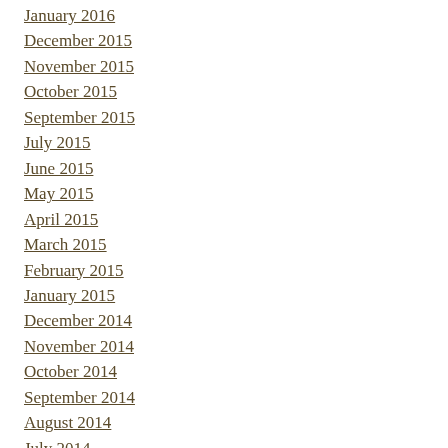January 2016
December 2015
November 2015
October 2015
September 2015
July 2015
June 2015
May 2015
April 2015
March 2015
February 2015
January 2015
December 2014
November 2014
October 2014
September 2014
August 2014
July 2014
June 2014